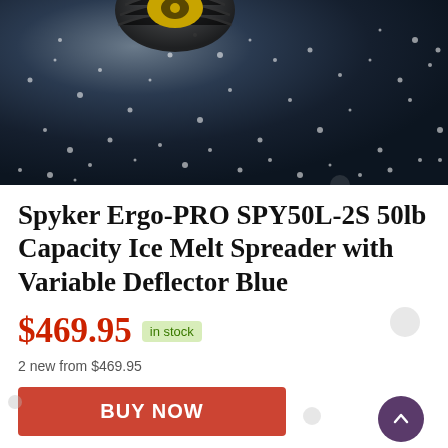[Figure (photo): Close-up photo of ice melt spreader wheel/tire on a dark surface covered with ice melt salt crystals. The wheel has a yellow hub and black tire. The surface is dark blue-gray scattered with white salt crystals.]
Spyker Ergo-PRO SPY50L-2S 50lb Capacity Ice Melt Spreader with Variable Deflector Blue
$469.95  in stock
2 new from $469.95
BUY NOW